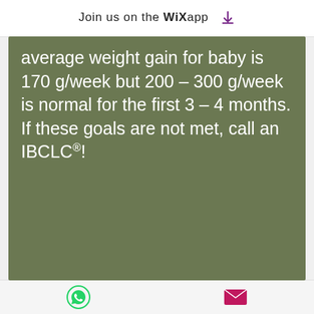Join us on the WiX app
average weight gain for baby is 170 g/week but 200 – 300 g/week is normal for the first 3 – 4 months. If these goals are not met, call an IBCLC®!
[Figure (photo): Close-up photo of yellowish-orange textured substance, likely infant stool or food puree, with glistening wet surface.]
WhatsApp and email contact icons